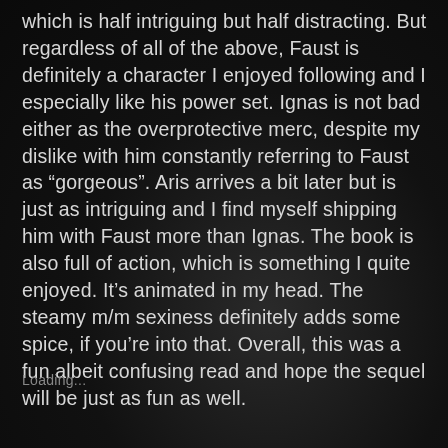which is half intriguing but half distracting. But regardless of all of the above, Faust is definitely a character I enjoyed following and I especially like his power set. Ignas is not bad either as the overprotective merc, despite my dislike with him constantly referring to Faust as “gorgeous”. Aris arrives a bit later but is just as intriguing and I find myself shipping him with Faust more than Ignas. The book is also full of action, which is something I quite enjoyed. It’s animated in my head. The steamy m/m sexiness definitely adds some spice, if you’re into that. Overall, this was a fun albeit confusing read and hope the sequel will be just as fun as well.
Loading...